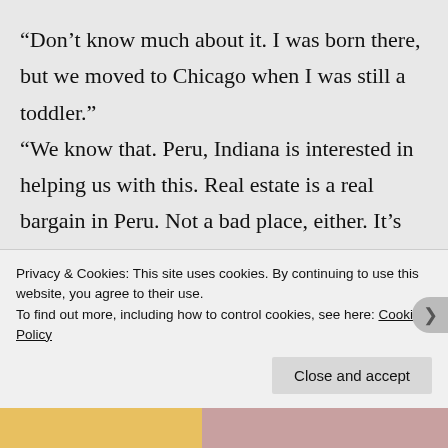“Don’t know much about it. I was born there, but we moved to Chicago when I was still a toddler.”
“We know that. Peru, Indiana is interested in helping us with this. Real estate is a real bargain in Peru. Not a bad place, either. It’s everything wrong and right about
Privacy & Cookies: This site uses cookies. By continuing to use this website, you agree to their use.
To find out more, including how to control cookies, see here: Cookie Policy